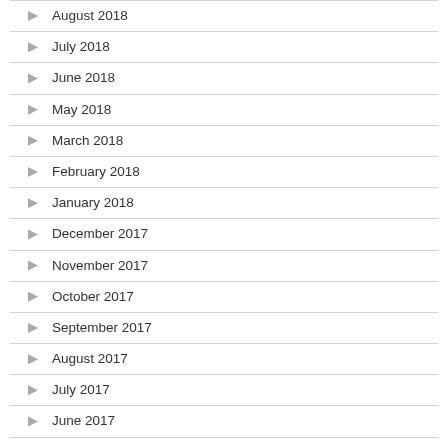August 2018
July 2018
June 2018
May 2018
March 2018
February 2018
January 2018
December 2017
November 2017
October 2017
September 2017
August 2017
July 2017
June 2017
May 2017